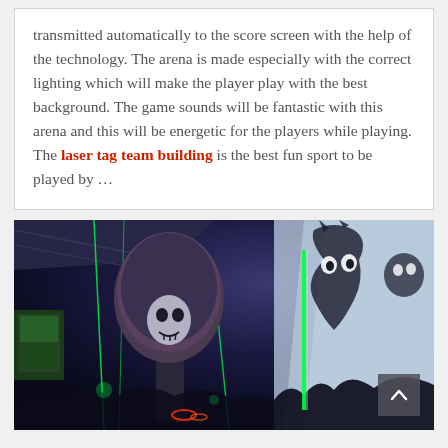transmitted automatically to the score screen with the help of the technology. The arena is made especially with the correct lighting which will make the player play with the best background. The game sounds will be fantastic with this arena and this will be energetic for the players while playing. The laser tag team building is the best fun sport to be played by …
[Figure (photo): Dark laser tag arena interior with neon green lighting, mushroom-shaped props with skull designs, black-light illuminated wall murals showing silhouetted monster figures, and a scroll-to-top button in the bottom right corner.]